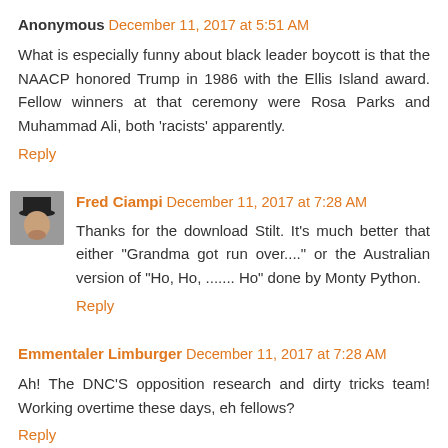Anonymous December 11, 2017 at 5:51 AM
What is especially funny about black leader boycott is that the NAACP honored Trump in 1986 with the Ellis Island award. Fellow winners at that ceremony were Rosa Parks and Muhammad Ali, both 'racists' apparently.
Reply
Fred Ciampi December 11, 2017 at 7:28 AM
Thanks for the download Stilt. It's much better that either "Grandma got run over...." or the Australian version of "Ho, Ho, ....... Ho" done by Monty Python.
Reply
Emmentaler Limburger December 11, 2017 at 7:28 AM
Ah! The DNC'S opposition research and dirty tricks team! Working overtime these days, eh fellows?
Reply